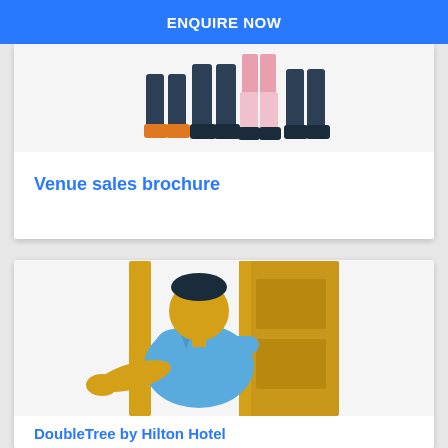ENQUIRE NOW
[Figure (illustration): Illustration of people's legs and feet cropped at the top, showing a group of people standing together]
Venue sales brochure
[Figure (illustration): Illustration of a flat paper-cut style character in a blue shirt with a yellow face peeking around a yellow door]
DoubleTree by Hilton Hotel